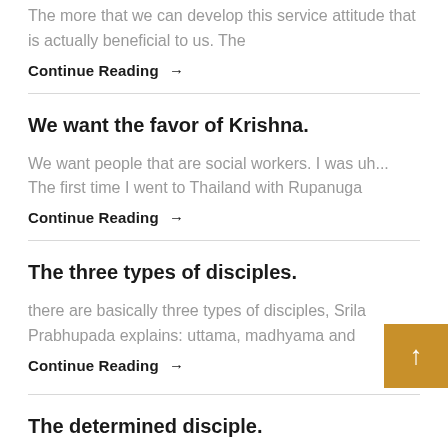The more that we can develop this service attitude that is actually beneficial to us. The
Continue Reading →
We want the favor of Krishna.
We want people that are social workers. I was uh... The first time I went to Thailand with Rupanuga
Continue Reading →
The three types of disciples.
there are basically three types of disciples, Srila Prabhupada explains: uttama, madhyama and
Continue Reading →
The determined disciple.